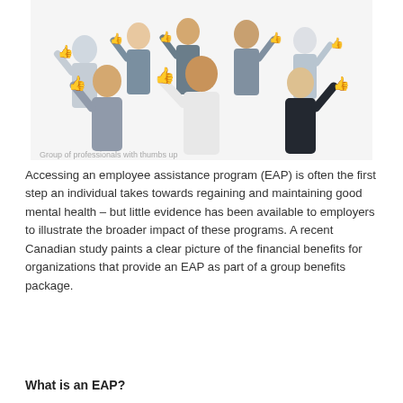[Figure (photo): Group of diverse business professionals giving thumbs up gesture, smiling, on white background]
Accessing an employee assistance program (EAP) is often the first step an individual takes towards regaining and maintaining good mental health – but little evidence has been available to employers to illustrate the broader impact of these programs. A recent Canadian study paints a clear picture of the financial benefits for organizations that provide an EAP as part of a group benefits package.
What is an EAP?